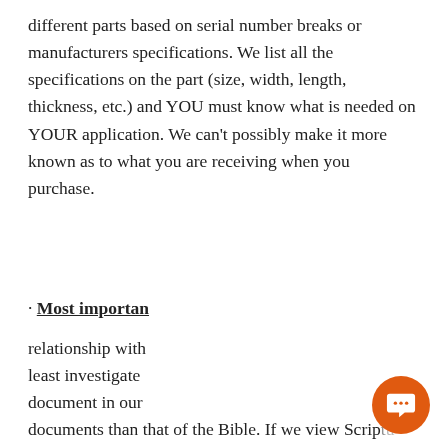different parts based on serial number breaks or manufacturers specifications. We list all the specifications on the part (size, width, length, thickness, etc.) and YOU must know what is needed on YOUR application. We can't possibly make it more known as to what you are receiving when you purchase.
· Most important
relationship with ... least investigate ... document in our ... documents than that of the Bible. If we view Scripture with the same mindset as we do all other history, overwhelmingly undeniable that it is truth and Jesus
[Figure (screenshot): Chat popup widget with close button, avatar photo, and text 'Do you have a question about a part?' with an orange circular chat FAB button]